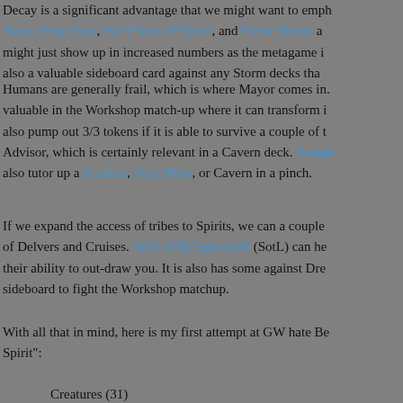Decay is a significant advantage that we might want to emphasize. Aegs of the Gods, War Priest of Thune, and Fiend Hunter all might just show up in increased numbers as the metagame ... also a valuable sideboard card against any Storm decks tha...
Humans are generally frail, which is where Mayor comes in. ... valuable in the Workshop match-up where it can transform ... also pump out 3/3 tokens if it is able to survive a couple of tu... Advisor, which is certainly relevant in a Cavern deck. Knight... also tutor up a Karakas, Strip Mine, or Cavern in a pinch.
If we expand the access of tribes to Spirits, we can a couple of Delvers and Cruises. Sprit of the Labyrinth (SotL) can hel... their ability to out-draw you. It is also has some against Drec... sideboard to fight the Workshop matchup.
With all that in mind, here is my first attempt at GW hate Bea... Spirit":
Smells Like Human S...
Creatures (31)          Lands (19)